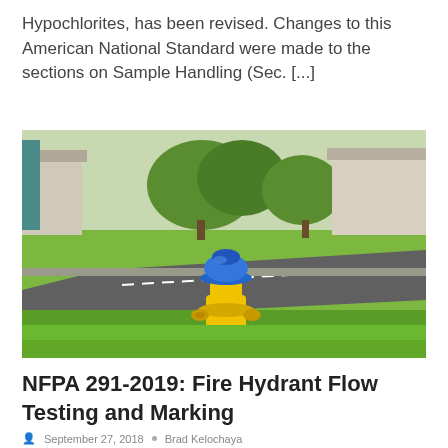Hypochlorites, has been revised. Changes to this American National Standard were made to the sections on Sample Handling (Sec. [...]
[Figure (photo): A yellow fire hydrant with a blue top cap, situated on a grass lawn at the edge of a residential street. Background shows green lawns, trees, houses, and a road with white lane markings on a sunny day.]
NFPA 291-2019: Fire Hydrant Flow Testing and Marking
September 27, 2018  •  Brad Kelochaya